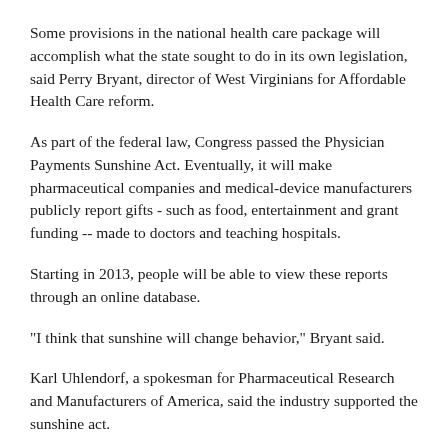Some provisions in the national health care package will accomplish what the state sought to do in its own legislation, said Perry Bryant, director of West Virginians for Affordable Health Care reform.
As part of the federal law, Congress passed the Physician Payments Sunshine Act. Eventually, it will make pharmaceutical companies and medical-device manufacturers publicly report gifts - such as food, entertainment and grant funding -- made to doctors and teaching hospitals.
Starting in 2013, people will be able to view these reports through an online database.
"I think that sunshine will change behavior," Bryant said.
Karl Uhlendorf, a spokesman for Pharmaceutical Research and Manufacturers of America, said the industry supported the sunshine act.